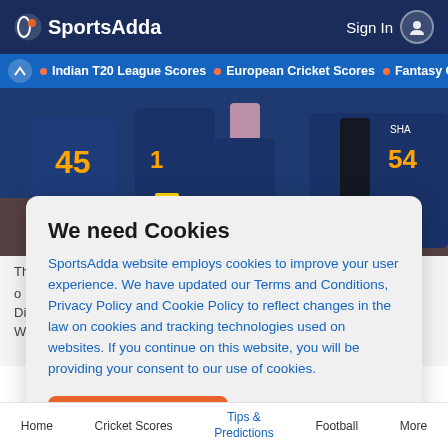SportsAdda  Sign In
• Indian T20 League Scores • European Cricket Scores • Fantasy C
[Figure (photo): Cricket players in navy blue jerseys with numbers 45 and 54 visible, standing together on a field]
We need Cookies
SportsAdda website employs cookies to improve your user experience. We have updated our Terms and Conditions, Privacy Policy and Cookie Policy to reflect changes in the law on cookies and tracking technologies used on websites. If you continue on this website, you will be providing your consent to our use of cookies.
Agree
Home  Cricket Scores  Tips & Predictions  Football  More